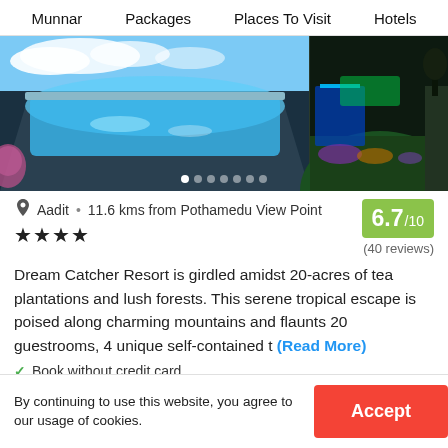Munnar   Packages   Places To Visit   Hotels
[Figure (photo): Aerial/night view of a resort with illuminated blue swimming pool and green/purple garden lights, two-panel image]
Aadit  •  11.6 kms from Pothamedu View Point
6.7/10
★★★★
(40 reviews)
Dream Catcher Resort is girdled amidst 20-acres of tea plantations and lush forests. This serene tropical escape is poised along charming mountains and flaunts 20 guestrooms, 4 unique self-contained t (Read More)
✓ Book without credit card
✓ 4 star resort with 5 room options
By continuing to use this website, you agree to our usage of cookies.